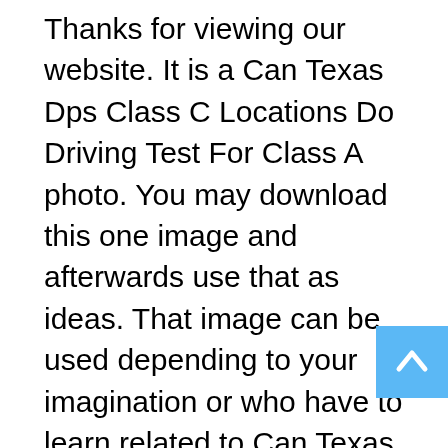Thanks for viewing our website. It is a Can Texas Dps Class C Locations Do Driving Test For Class A photo. You may download this one image and afterwards use that as ideas. That image can be used depending to your imagination or who have to learn related to Can Texas Dps Class C Locations Do Driving Test For Class A. You be able to get next related images in this website. For different pictures relative to this Can Texas Dps Class C Locations Do Driving Test For Class A, you may see that at the ending of this site page. Hopefully these page can be helpful for you. In case you like it, don't doubt to share this site with your family so that others also get the same advantages. Who knows your friends as well need these Can Texas Dps Class C Locations Do
[Figure (other): Back to top button — a blue square with a white upward-pointing chevron arrow]